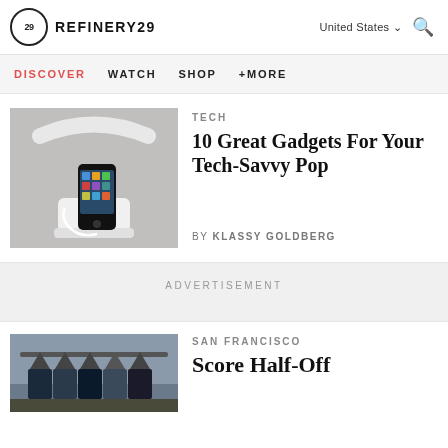REFINERY29 — United States — Search
DISCOVER   WATCH   SHOP   +MORE
TECH
[Figure (photo): iPhone docked in a white retro telephone handset dock on a grey background]
10 Great Gadgets For Your Tech-Savvy Pop
by KLASSY GOLDBERG
ADVERTISEMENT
[Figure (photo): Clothing rack with dark coats and jackets in an urban setting]
SAN FRANCISCO
Score Half-Off